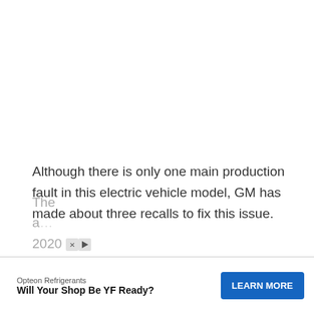Although there is only one main production fault in this electric vehicle model, GM has made about three recalls to fix this issue.
This single issue is that many Chevrolet Bolt EV batteries tend to catch fire when parked indoors.
After the first fires occurred, GM realized that some Bolt EV models might have defective battery cells.
The a… 2020
[Figure (infographic): Advertisement banner: Opteon Refrigerants - Will Your Shop Be YF Ready? with LEARN MORE button and icons]